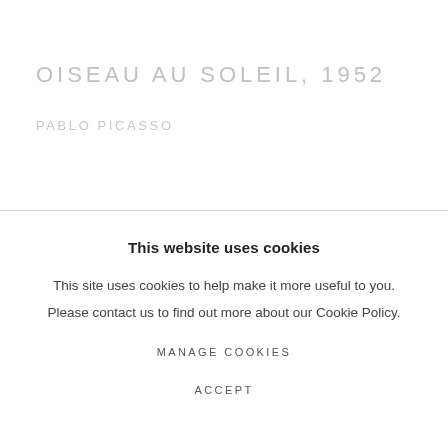OISEAU AU SOLEIL, 1952
PABLO PICASSO
This website uses cookies
This site uses cookies to help make it more useful to you.
Please contact us to find out more about our Cookie Policy.
MANAGE COOKIES
ACCEPT